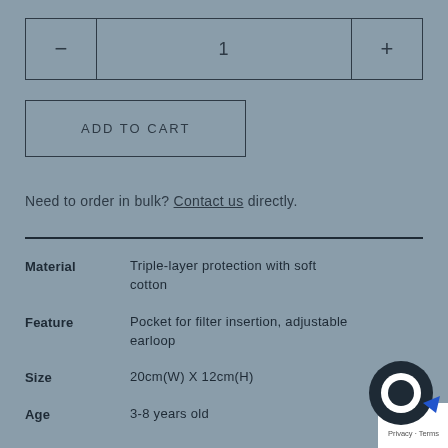[Figure (screenshot): Quantity selector with minus button, center showing '1', and plus button, all inside a bordered rectangle]
[Figure (screenshot): ADD TO CART button with border]
Need to order in bulk? Contact us directly.
| Material | Triple-layer protection with soft cotton |
| Feature | Pocket for filter insertion, adjustable earloop |
| Size | 20cm(W) X 12cm(H) |
| Age | 3-8 years old |